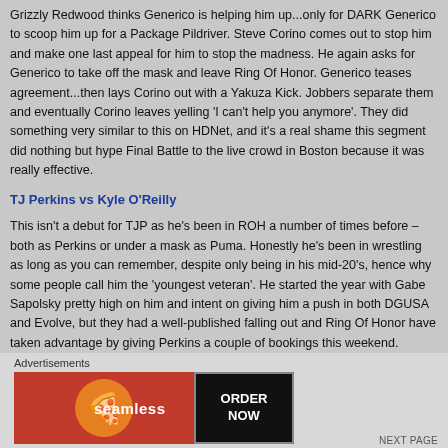Grizzly Redwood thinks Generico is helping him up...only for DARK Generico to scoop him up for a Package Pildriver. Steve Corino comes out to stop him and make one last appeal for him to stop the madness. He again asks for Generico to take off the mask and leave Ring Of Honor. Generico teases agreement...then lays Corino out with a Yakuza Kick. Jobbers separate them and eventually Corino leaves yelling 'I can't help you anymore'. They did something very similar to this on HDNet, and it's a real shame this segment did nothing but hype Final Battle to the live crowd in Boston because it was really effective.
TJ Perkins vs Kyle O'Reilly
This isn't a debut for TJP as he's been in ROH a number of times before – both as Perkins or under a mask as Puma. Honestly he's been in wrestling as long as you can remember, despite only being in his mid-20's, hence why some people call him the 'youngest veteran'. He started the year with Gabe Sapolsky pretty high on him and intent on giving him a push in both DGUSA and Evolve, but they had a well-published falling out and Ring Of Honor have taken advantage by giving Perkins a couple of bookings this weekend.
Advertisements
[Figure (photo): Seamless food delivery advertisement banner with pizza image on red background and ORDER NOW button]